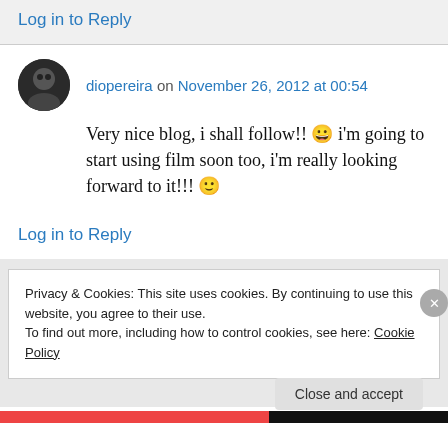Log in to Reply
diopereira on November 26, 2012 at 00:54
Very nice blog, i shall follow!! 😀 i'm going to start using film soon too, i'm really looking forward to it!!! 🙂
Log in to Reply
Privacy & Cookies: This site uses cookies. By continuing to use this website, you agree to their use.
To find out more, including how to control cookies, see here: Cookie Policy
Close and accept